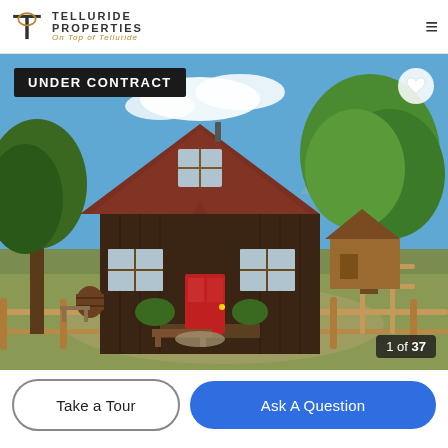TELLURIDE PROPERTIES — On Top of Telluride
[Figure (photo): Exterior photo of a rustic dark wood A-frame cabin with a red metal roof and red door, surrounded by large green trees, a wooden fence in the foreground, a small outbuilding to the right, blue sky with white clouds. Badge reading 'UNDER CONTRACT' in top-left. Heart icon in top-right. Counter '1 of 37' in bottom-right.]
Take a Tour
Ask A Question